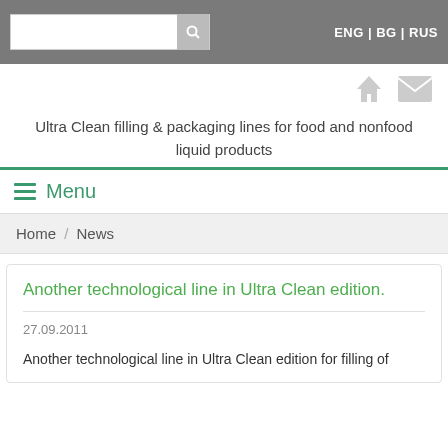ENG | BG | RUS
[Figure (screenshot): Home icon and mail envelope icon in grey]
Ultra Clean filling & packaging lines for food and nonfood liquid products
Menu
Home / News
Another technological line in Ultra Clean edition.
27.09.2011
Another technological line in Ultra Clean edition for filling of